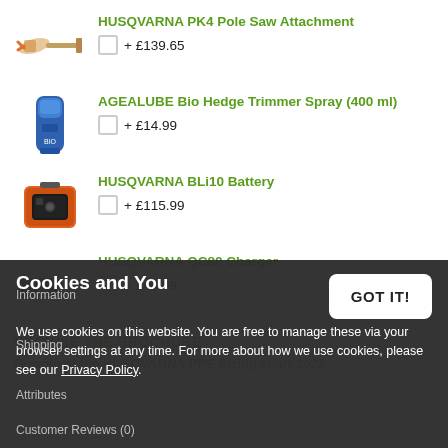HUSQVARNA PK4 Pole Saw Attachment + £139.65
AGEALUBE Bio Hedge Trimmer Spray (400 ml) + £14.99
HUSQVARNA BLi10 Battery + £115.99
HUSQVARNA QC80 Charger + £49.99
BROWSE THE BROCHURE
Download the HUSQVARNA PPE Sizing chart 2022
Cookies and You
We use cookies on this website. You are free to manage these via your browser settings at any time. For more about how we use cookies, please see our Privacy Policy.
Information
Shipping
Attributes
Customer Reviews (0)